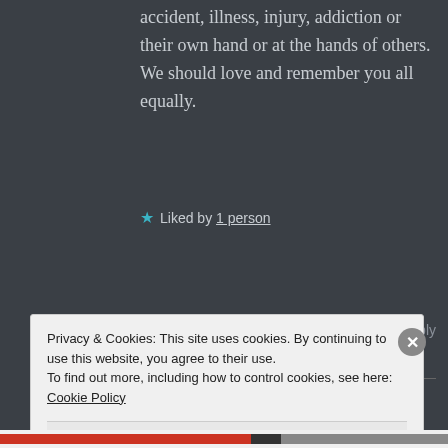accident, illness, injury, addiction or their own hand or at the hands of others. We should love and remember you all equally.
★ Liked by 1 person
[Figure (photo): Circular avatar photo of user KAZBLAH, black and white image of a person]
KAZBLAH says:
↩ Reply
December 4, 2014 at 10:19 pm
Well said, Wombat.
Privacy & Cookies: This site uses cookies. By continuing to use this website, you agree to their use.
To find out more, including how to control cookies, see here: Cookie Policy
Close and accept